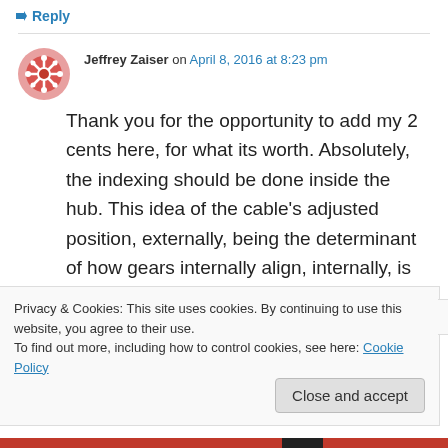↳ Reply
Jeffrey Zaiser on April 8, 2016 at 8:23 pm
Thank you for the opportunity to add my 2 cents here, for what its worth. Absolutely, the indexing should be done inside the hub. This idea of the cable's adjusted position, externally, being the determinant of how gears internally align, internally, is flawed, as you have indicated; necessitating electric or hydraulic solenoid
Privacy & Cookies: This site uses cookies. By continuing to use this website, you agree to their use.
To find out more, including how to control cookies, see here: Cookie Policy
Close and accept